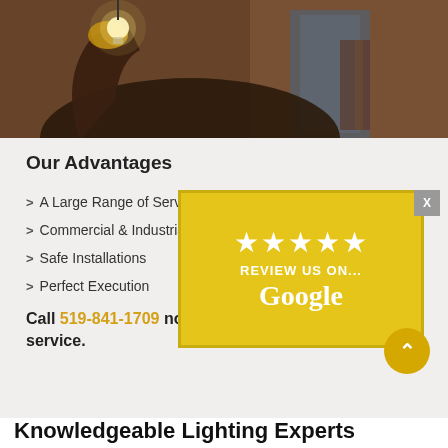[Figure (photo): A person in work gloves holding an incandescent light bulb up, dark background, warm lighting — electrician at work.]
Our Advantages
A Large Range of Services
Commercial & Industrial
Safe Installations
Perfect Execution
Call 519-841-1709 now to get our service.
[Figure (infographic): Yellow overlay box with five white stars and text REVIEW US ON... Google]
Knowledgeable Lighting Experts